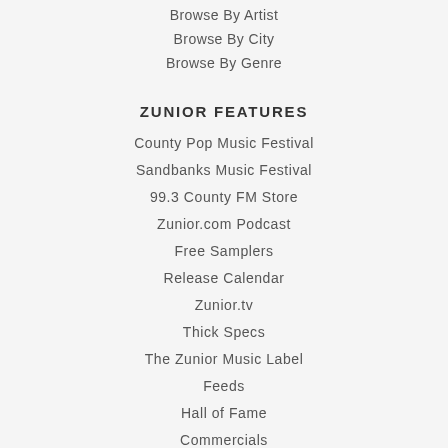Browse By Artist
Browse By City
Browse By Genre
ZUNIOR FEATURES
County Pop Music Festival
Sandbanks Music Festival
99.3 County FM Store
Zunior.com Podcast
Free Samplers
Release Calendar
Zunior.tv
Thick Specs
The Zunior Music Label
Feeds
Hall of Fame
Commercials
Manifesto